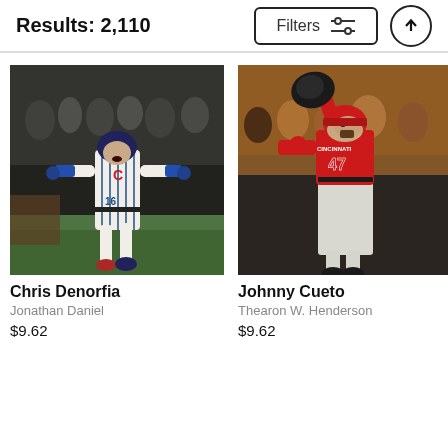Results: 2,110
[Figure (photo): Chris Denorfia, Chicago Cubs player in white pinstripe uniform, arms outstretched celebrating, running on baseball field at night]
Chris Denorfia
Jonathan Daniel
$9.62
[Figure (photo): Johnny Cueto, Cincinnati Reds pitcher #47 in red and gray uniform, pointing up with glove raised, looking skyward]
Johnny Cueto
Thearon W. Henderson
$9.62